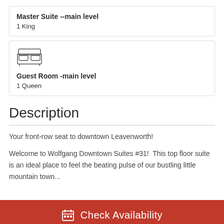Master Suite --main level
1 King
[Figure (illustration): Bed/room icon outline illustration]
Guest Room -main level
1 Queen
Description
Your front-row seat to downtown Leavenworth!
Welcome to Wolfgang Downtown Suites #31!  This top floor suite is an ideal place to feel the beating pulse of our bustling little mountain town...
Check Availability